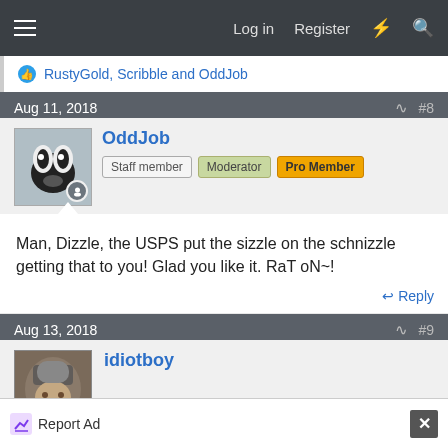Log in  Register
RustyGold, Scribble and OddJob
Aug 11, 2018  #8
OddJob
Staff member  Moderator  Pro Member
Man, Dizzle, the USPS put the sizzle on the schnizzle getting that to you! Glad you like it. RaT oN~!
Reply
Aug 13, 2018  #9
idiotboy
Report Ad